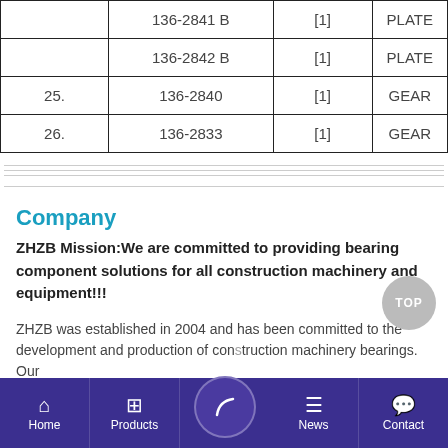|  | Part Number | Qty | Description |
| --- | --- | --- | --- |
|  | 136-2841 B | [1] | PLATE |
|  | 136-2842 B | [1] | PLATE |
| 25. | 136-2840 | [1] | GEAR |
| 26. | 136-2833 | [1] | GEAR |
Company
ZHZB Mission:We are committed to providing bearing component solutions for all construction machinery and equipment!!!
ZHZB was established in 2004 and has been committed to the development and production of construction machinery bearings. Our